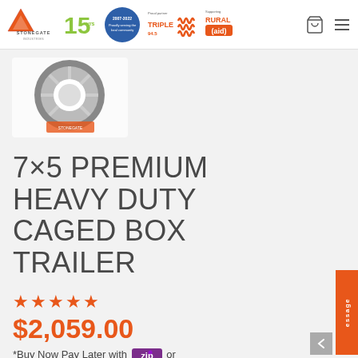Stonegate Industries — 15 yrs — Proud partner Triple M — Supporting Rural Aid
[Figure (photo): Product image of a trailer wheel/tyre on white background with small red label]
7×5 PREMIUM HEAVY DUTY CAGED BOX TRAILER
★★★★★ (5 stars rating)
$2,059.00
*Buy Now Pay Later with Zip or